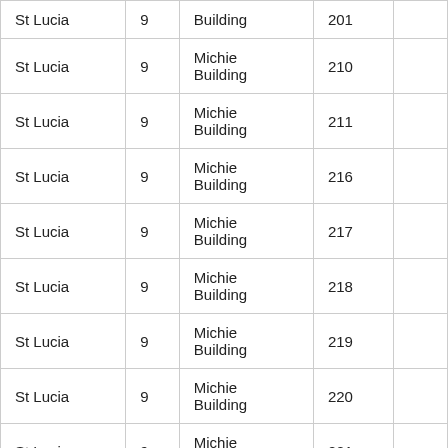| St Lucia | 9 | Building | 201 |  |
| St Lucia | 9 | Michie Building | 210 |  |
| St Lucia | 9 | Michie Building | 211 |  |
| St Lucia | 9 | Michie Building | 216 |  |
| St Lucia | 9 | Michie Building | 217 |  |
| St Lucia | 9 | Michie Building | 218 |  |
| St Lucia | 9 | Michie Building | 219 |  |
| St Lucia | 9 | Michie Building | 220 |  |
| St Lucia | 9 | Michie Building | 221 |  |